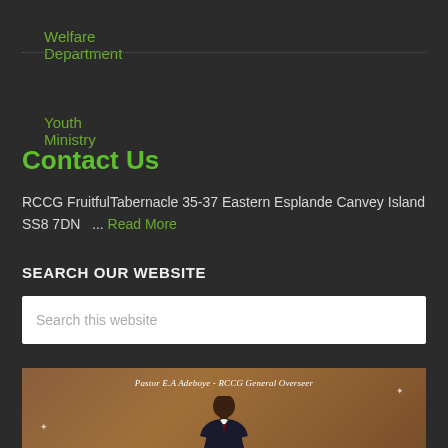Welfare Department
Youth Ministry
Contact Us
RCCG FruitfulTabernacle 35-37 Eastern Esplande Canvey Island SS8 7DN   ... Read More
SEARCH OUR WEBSITE
Search this website
[Figure (photo): Photo of Pastor E.A Adeboye - RCCG General Overseer, man in suit on brown background with sparkle effects]